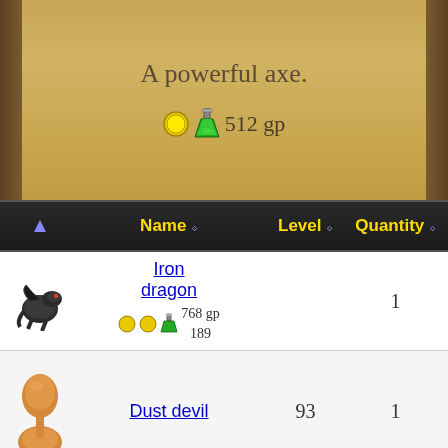A powerful axe.
512 gp
|  | Name | Level | Quantity |
| --- | --- | --- | --- |
| [iron dragon icon] | Iron dragon | 768 gp / 189 | 1 |
| [dust devil icon] | Dust devil | 93 | 1 |
| [ice troll icon] | Ice Troll | 124 | 1 |